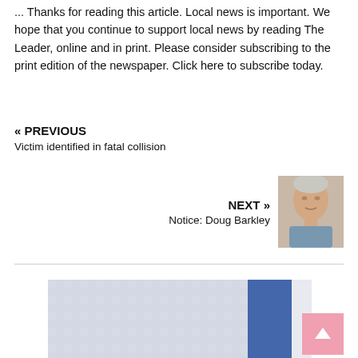... Thanks for reading this article. Local news is important. We hope that you continue to support local news by reading The Leader, online and in print. Please consider subscribing to the print edition of the newspaper. Click here to subscribe today.
« PREVIOUS
Victim identified in fatal collision
NEXT »
Notice: Doug Barkley
[Figure (photo): Headshot photo of an older person, presumably Doug Barkley]
[Figure (photo): Partial advertisement or banner image with light blue textured background and blue rectangle on right side]